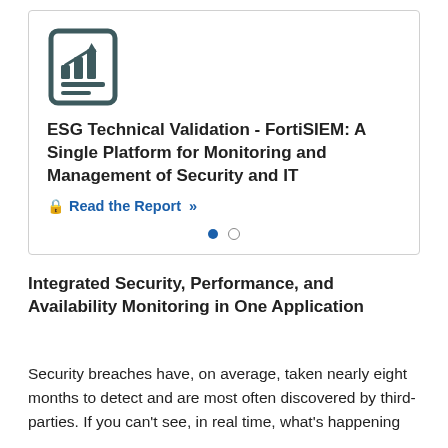[Figure (illustration): Icon of a document/report with a bar and line chart graphic inside a rounded square border, rendered in dark teal/gray color]
ESG Technical Validation - FortiSIEM: A Single Platform for Monitoring and Management of Security and IT
Read the Report  »
Integrated Security, Performance, and Availability Monitoring in One Application
Security breaches have, on average, taken nearly eight months to detect and are most often discovered by third-parties. If you can't see, in real time, what's happening